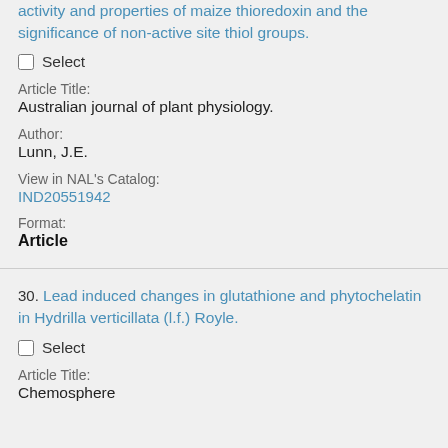activity and properties of maize thioredoxin and the significance of non-active site thiol groups.
Select
Article Title:
Australian journal of plant physiology.
Author:
Lunn, J.E.
View in NAL's Catalog:
IND20551942
Format:
Article
30. Lead induced changes in glutathione and phytochelatin in Hydrilla verticillata (l.f.) Royle.
Select
Article Title:
Chemosphere